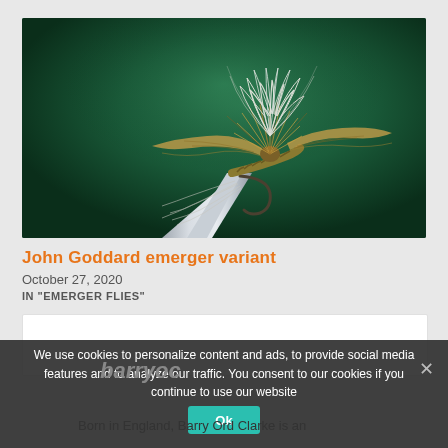[Figure (photo): Close-up macro photograph of a fishing fly (John Goddard emerger variant) held by forceps/tweezers against a dark green background. The fly has white fluffy hackle on top, golden/tan body with reddish-brown wings spread outward, and a curved metal hook visible at the bottom.]
John Goddard emerger variant
October 27, 2020
IN "EMERGER FLIES"
We use cookies to personalize content and ads, to provide social media features and to analyze our traffic. You consent to our cookies if you continue to use our website
Ok
barrydc
Born in England, Barry Ord Clarke is an